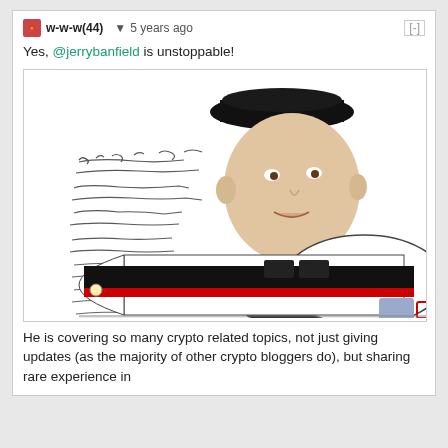w-w-w (44) ▼  5 years ago  [-]
Yes, @jerrybanfield is unstoppable!
[Figure (illustration): Meme image showing a man's face with a black graduation-style hat, body replaced by a white bullet train with red and black stripes, surrounded by stylized text/script writing on a white background]
He is covering so many crypto related topics, not just giving updates (as the majority of other crypto bloggers do), but sharing rare experience in